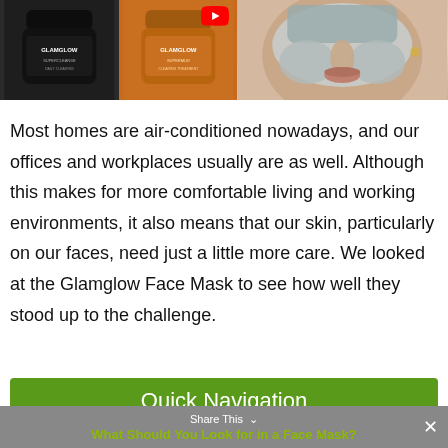[Figure (photo): Product image showing two GlamGlow face mask jars (one black, one orange) alongside a person wearing a gray/white clay face mask. A YouTube play button overlay is visible at the top.]
Most homes are air-conditioned nowadays, and our offices and workplaces usually are as well. Although this makes for more comfortable living and working environments, it also means that our skin, particularly on our faces, need just a little more care. We looked at the Glamglow Face Mask to see how well they stood up to the challenge.
Quick Navigation
Share This  ∨   ✕
What Should You Look for in a Face Mask?